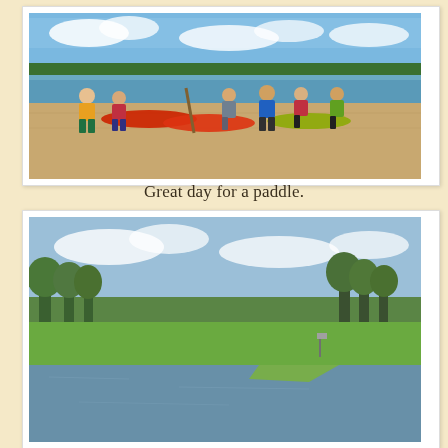[Figure (photo): Group of people standing on a sandy riverbank with kayaks in front of them. Trees and calm water visible in background. People wearing life vests and hats.]
Great day for a paddle.
[Figure (photo): Scenic view of a calm lake or river with green grassy banks, trees, and cloudy sky.]